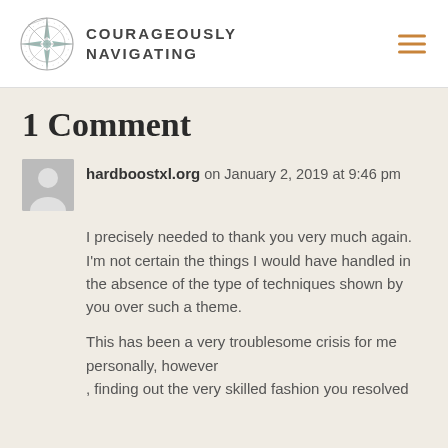COURAGEOUSLY NAVIGATING
1 Comment
hardboostxl.org on January 2, 2019 at 9:46 pm
I precisely needed to thank you very much again. I'm not certain the things I would have handled in the absence of the type of techniques shown by you over such a theme.
This has been a very troublesome crisis for me personally, however , finding out the very skilled fashion you resolved